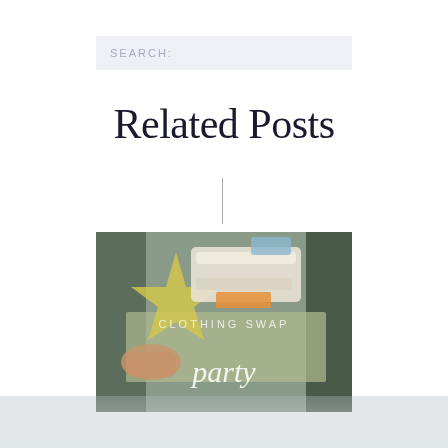SEARCH:
Related Posts
[Figure (photo): Clothing swap party photo showing a table with piled clothing items, a yellow star graphic overlay, text 'CLOTHING SWAP' and 'party' overlaid on the image]